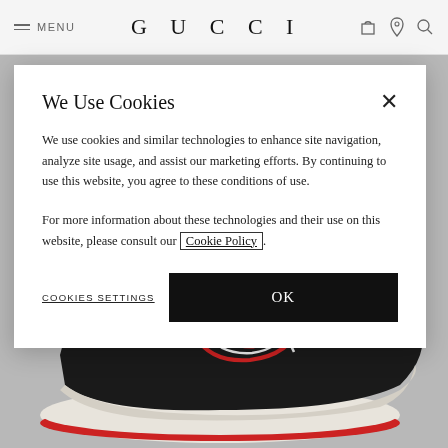MENU  GUCCI
[Figure (photo): Gucci sneaker with red and black psychedelic pattern with white stripe motifs on a gray background]
We Use Cookies
We use cookies and similar technologies to enhance site navigation, analyze site usage, and assist our marketing efforts. By continuing to use this website, you agree to these conditions of use.
For more information about these technologies and their use on this website, please consult our Cookie Policy.
COOKIES SETTINGS
OK